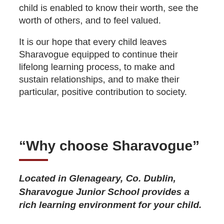child is enabled to know their worth, see the worth of others, and to feel valued.
It is our hope that every child leaves Sharavogue equipped to continue their lifelong learning process, to make and sustain relationships, and to make their particular, positive contribution to society.
“Why choose Sharavogue”
Located in Glenageary, Co. Dublin, Sharavogue Junior School provides a rich learning environment for your child.
Our school offers a broad and balanced a...